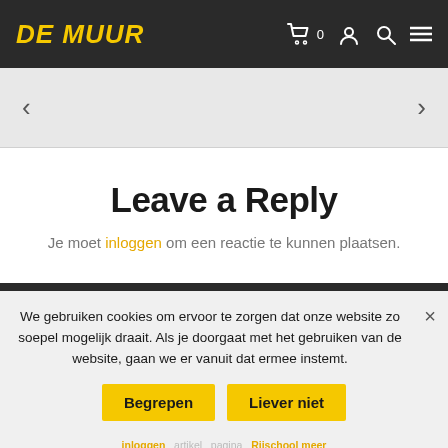DE MUUR
[Figure (other): Navigation slider area with left and right arrow chevrons on a light grey background]
Leave a Reply
Je moet inloggen om een reactie te kunnen plaatsen.
We gebruiken cookies om ervoor te zorgen dat onze website zo soepel mogelijk draait. Als je doorgaat met het gebruiken van de website, gaan we er vanuit dat ermee instemt.
Begrepen
Liever niet